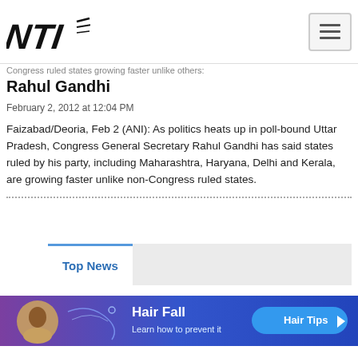NTI logo and navigation
Congress ruled states growing faster unlike others: Rahul Gandhi
February 2, 2012 at 12:04 PM
Faizabad/Deoria, Feb 2 (ANI): As politics heats up in poll-bound Uttar Pradesh, Congress General Secretary Rahul Gandhi has said states ruled by his party, including Maharashtra, Haryana, Delhi and Kerala, are growing faster unlike non-Congress ruled states.
Top News
[Figure (photo): Hair Fall advertisement banner - Learn how to prevent it, Hair Tips button]